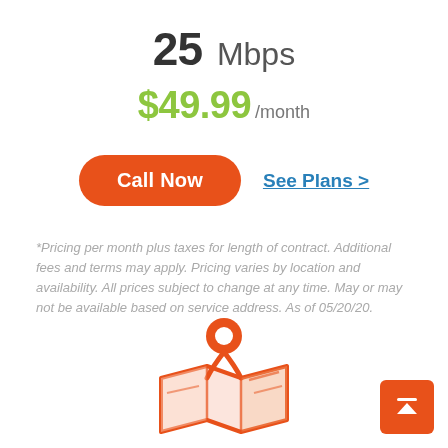25 Mbps
$49.99 /month
Call Now
See Plans >
*Pricing per month plus taxes for length of contract. Additional fees and terms may apply. Pricing varies by location and availability. All prices subject to change at any time. May or may not be available based on service address. As of 05/20/20.
[Figure (illustration): Orange map pin / location icon over a folded map illustration]